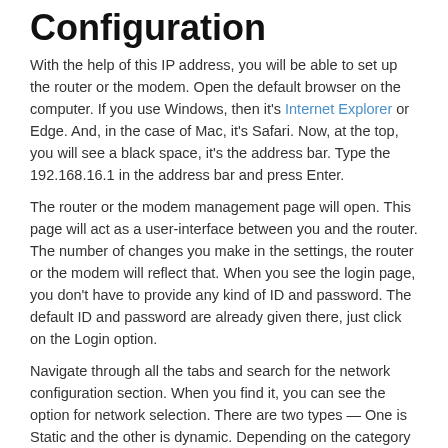Configuration
With the help of this IP address, you will be able to set up the router or the modem. Open the default browser on the computer. If you use Windows, then it's Internet Explorer or Edge. And, in the case of Mac, it's Safari. Now, at the top, you will see a black space, it's the address bar. Type the 192.168.16.1 in the address bar and press Enter.
The router or the modem management page will open. This page will act as a user-interface between you and the router. The number of changes you make in the settings, the router or the modem will reflect that. When you see the login page, you don't have to provide any kind of ID and password. The default ID and password are already given there, just click on the Login option.
Navigate through all the tabs and search for the network configuration section. When you find it, you can see the option for network selection. There are two types — One is Static and the other is dynamic. Depending on the category of your internet connection, you have to select the requisite one.
The static IP is already configured by the ISP. So, you don't have